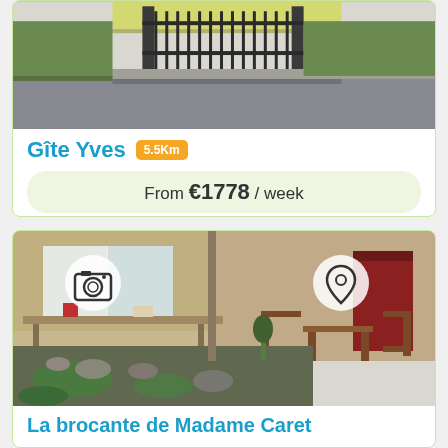[Figure (photo): Top portion of a listing card showing a road/driveway with a metal gate, cut off at the top]
Gîte Yves 5.5Km
From €1778 / week
Book Now
[Figure (photo): Patio/garden area of a property showing a stone garden with moss, gravel, outdoor wooden furniture (chairs and a table), and a building in the background with a red door and white curtains]
La brocante de Madame Caret